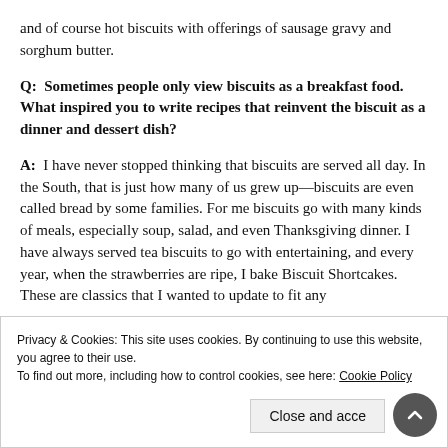and of course hot biscuits with offerings of sausage gravy and sorghum butter.
Q: Sometimes people only view biscuits as a breakfast food. What inspired you to write recipes that reinvent the biscuit as a dinner and dessert dish?
A: I have never stopped thinking that biscuits are served all day. In the South, that is just how many of us grew up—biscuits are even called bread by some families. For me biscuits go with many kinds of meals, especially soup, salad, and even Thanksgiving dinner. I have always served tea biscuits to go with entertaining, and every year, when the strawberries are ripe, I bake Biscuit Shortcakes. These are classics that I wanted to update to fit any
Privacy & Cookies: This site uses cookies. By continuing to use this website, you agree to their use. To find out more, including how to control cookies, see here: Cookie Policy
Close and acce